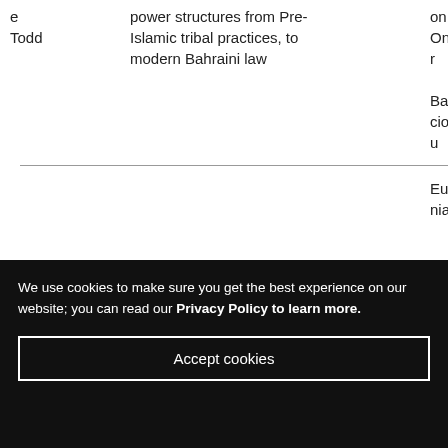| e Todd | power structures from Pre-Islamic tribal practices, to modern Bahraini law |  | on Onder
Bakirciogl
u |
|  |  |  | Euge
nia |
We use cookies to make sure you get the best experience on our website; you can read our Privacy Policy to learn more.
Accept cookies